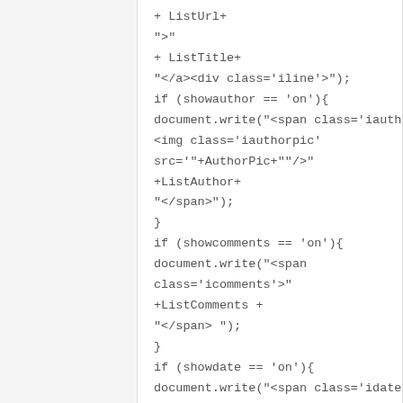+ ListUrl+
">"
+ ListTitle+
"</a><div class='iline'>");
if (showauthor == 'on'){
document.write("<span class='iauthor'>
<img class='iauthorpic'
src='"+AuthorPic+""/>"
+ListAuthor+
"</span>");
}
if (showcomments == 'on'){
document.write("<span
class='icomments'>"
+ListComments +
"</span> ");
}
if (showdate == 'on'){
document.write("<span class='idate'>"